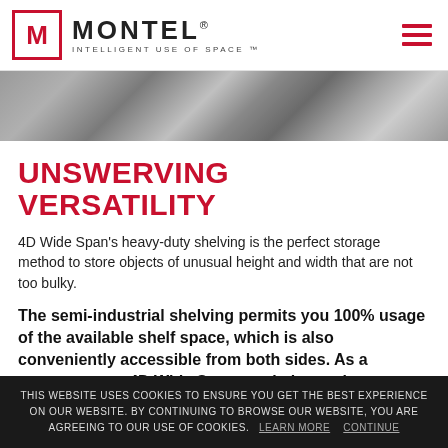[Figure (logo): Montel logo with red M in a square border, company name MONTEL with registered trademark, tagline INTELLIGENT USE OF SPACE, and hamburger menu icon]
[Figure (photo): Hero banner photo showing shelving storage system with dark metallic objects on shelves]
UNSWERVING VERSATILITY
4D Wide Span's heavy-duty shelving is the perfect storage method to store objects of unusual height and width that are not too bulky.
The semi-industrial shelving permits you 100% usage of the available shelf space, which is also conveniently accessible from both sides. As a consequence, 4D Wide Span can help you increase productivity, save room and reduce costs by optimizing your storage. Plus, the system can be fixed in place or installed on
THIS WEBSITE USES COOKIES TO ENSURE YOU GET THE BEST EXPERIENCE ON OUR WEBSITE. BY CONTINUING TO BROWSE OUR WEBSITE, YOU ARE AGREEING TO OUR USE OF COOKIES.  LEARN MORE   CONTINUE